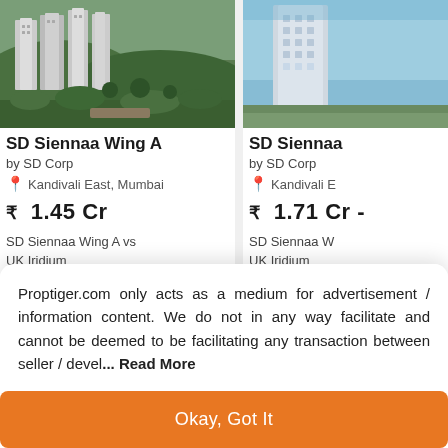[Figure (photo): Aerial/rendered view of SD Siennaa Wing A residential tower with greenery]
SD Siennaa Wing A
by SD Corp
Kandivali East, Mumbai
₹  1.45 Cr
SD Siennaa Wing A vs UK Iridium
[Figure (photo): Rendered view of SD Siennaa building (partial, right side cut off)]
SD Siennaa
by SD Corp
Kandivali E
₹  1.71 Cr -
SD Siennaa W UK Iridium
Proptiger.com only acts as a medium for advertisement / information content. We do not in any way facilitate and cannot be deemed to be facilitating any transaction between seller / devel... Read More
Okay, Got It